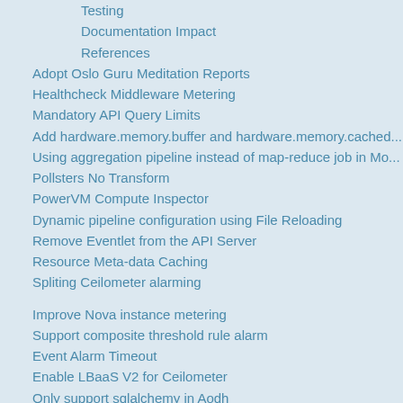Testing
Documentation Impact
References
Adopt Oslo Guru Meditation Reports
Healthcheck Middleware Metering
Mandatory API Query Limits
Add hardware.memory.buffer and hardware.memory.cached...
Using aggregation pipeline instead of map-reduce job in Mo...
Pollsters No Transform
PowerVM Compute Inspector
Dynamic pipeline configuration using File Reloading
Remove Eventlet from the API Server
Resource Meta-data Caching
Spliting Ceilometer alarming
Improve Nova instance metering
Support composite threshold rule alarm
Event Alarm Timeout
Enable LBaaS V2 for Ceilometer
Only support sqlalchemy in Aodh
Rolling Upgrades
Tempest Plugin
Add pagination support for Aodh